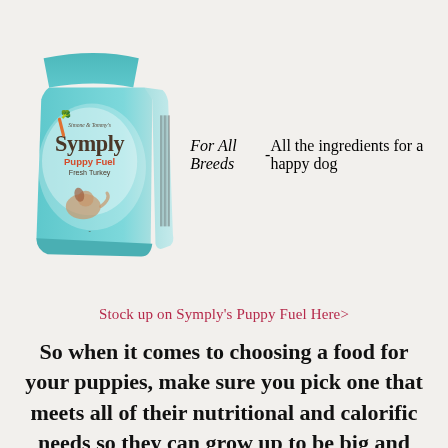[Figure (photo): A light teal/turquoise dog food bag labeled 'Symply Puppy Fuel Fresh Turkey For All Breeds' with illustrations of ingredients and a running puppy on the front, shown at a slight angle with a barcode panel on the right side.]
Stock up on Symply's Puppy Fuel Here>
So when it comes to choosing a food for your puppies, make sure you pick one that meets all of their nutritional and calorific needs so they can grow up to be big and